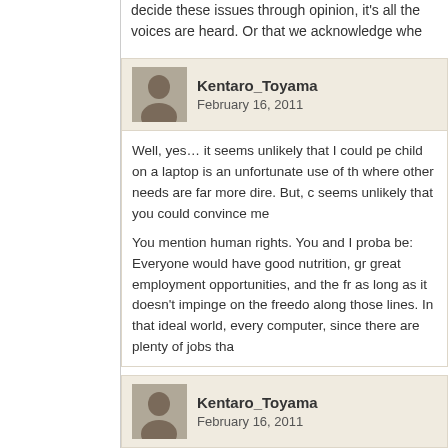decide these issues through opinion, it's all the voices are heard. Or that we acknowledge whe
[Figure (photo): Avatar photo of Kentaro_Toyama]
Kentaro_Toyama
February 16, 2011
Well, yes… it seems unlikely that I could pe child on a laptop is an unfortunate use of th where other needs are far more dire. But, c seems unlikely that you could convince me
You mention human rights. You and I proba be: Everyone would have good nutrition, gr great employment opportunities, and the fr as long as it doesn't impinge on the freedo along those lines. In that ideal world, every computer, since there are plenty of jobs tha
[Figure (photo): Avatar photo of Kentaro_Toyama]
Kentaro_Toyama
February 16, 2011
(...cont'd) But, where you and I disagree is literacy a "human right." The problem with r Once you decide something is a right, there whether provision of it makes sense *relativ the same resources. A right is non-negotial willing to compromise in the site site of d